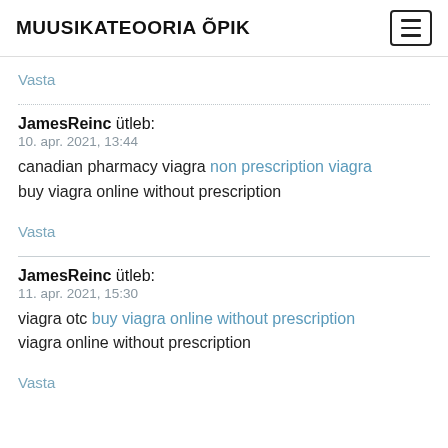MUUSIKATEOORIA ÕPIK
Vasta
JamesReinc ütleb:
10. apr. 2021, 13:44
canadian pharmacy viagra non prescription viagra
buy viagra online without prescription
Vasta
JamesReinc ütleb:
11. apr. 2021, 15:30
viagra otc buy viagra online without prescription
viagra online without prescription
Vasta